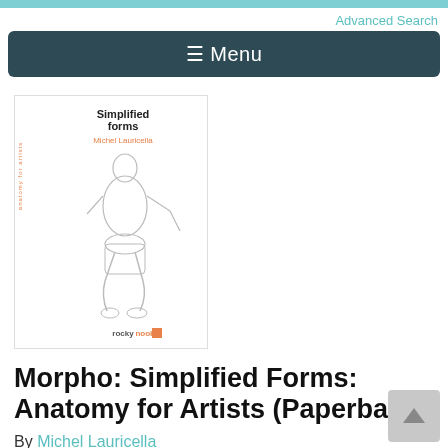Advanced Search
☰ Menu
[Figure (illustration): Book cover of Morpho: Simplified Forms: Anatomy for Artists by Michel Lauricella, showing a line drawing of a human figure with simplified body forms, with orange text 'MORPHO' vertically on the left spine, 'Simplified forms' at top, author name in orange, and 'rocky nook' publisher logo at bottom.]
Morpho: Simplified Forms: Anatomy for Artists (Paperback)
By Michel Lauricella